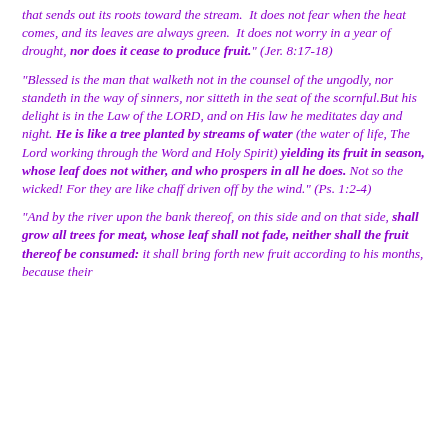that sends out its roots toward the stream.  It does not fear when the heat comes, and its leaves are always green.  It does not worry in a year of drought, nor does it cease to produce fruit." (Jer. 8:17-18)
"Blessed is the man that walketh not in the counsel of the ungodly, nor standeth in the way of sinners, nor sitteth in the seat of the scornful.But his delight is in the Law of the LORD, and on His law he meditates day and night. He is like a tree planted by streams of water (the water of life, The Lord working through the Word and Holy Spirit) yielding its fruit in season, whose leaf does not wither, and who prospers in all he does. Not so the wicked! For they are like chaff driven off by the wind." (Ps. 1:2-4)
"And by the river upon the bank thereof, on this side and on that side, shall grow all trees for meat, whose leaf shall not fade, neither shall the fruit thereof be consumed: it shall bring forth new fruit according to his months, because their